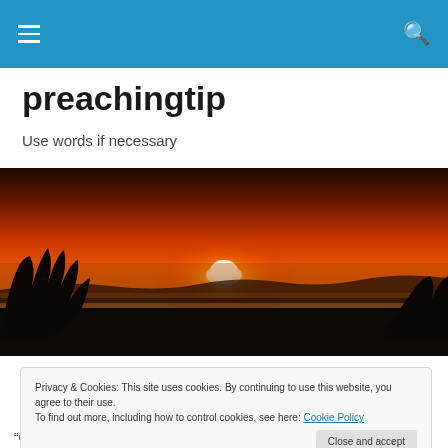preachingtip — navigation bar with hamburger menu and search icon
preachingtip
Use words if necessary
[Figure (photo): Wide panoramic sunset photo showing an orange and red sky with the sun setting on the horizon, silhouettes of trees and landscape in the foreground]
Privacy & Cookies: This site uses cookies. By continuing to use this website, you agree to their use.
To find out more, including how to control cookies, see here: Cookie Policy
[Close and accept button]
"Our demons are our own limitations, which shut us off from the